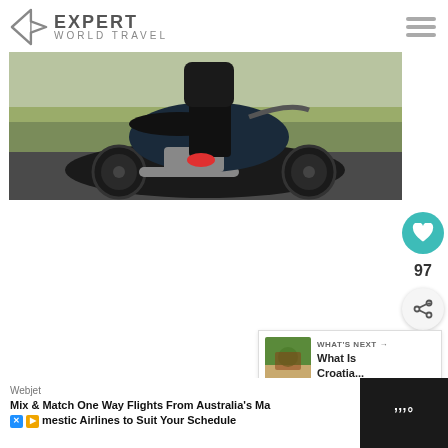EXPERT WORLD TRAVEL
[Figure (photo): Person sitting on a black Harley-Davidson motorcycle on a road, wearing black jeans and red sneakers, with grassy field in background]
97
WHAT'S NEXT → What Is Croatia...
[Figure (photo): Small thumbnail image of Croatia aerial view]
Webjet
Mix & Match One Way Flights From Australia's Ma
omestic Airlines to Suit Your Schedule